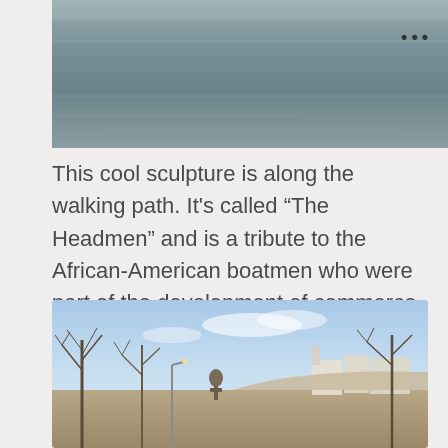[Figure (photo): Top portion of a photo showing water/river with a flat calm surface, grayish tones]
This cool sculpture is along the walking path. It's called “The Headmen” and is a tribute to the African-American boatmen who were part of the development of commerce in the city. The city has other sculptures around it and I will post those a different time.
[Figure (photo): Outdoor winter scene with bare trees against a blue sky, a sculpture visible among the trees, and white buildings in the background on a hill]